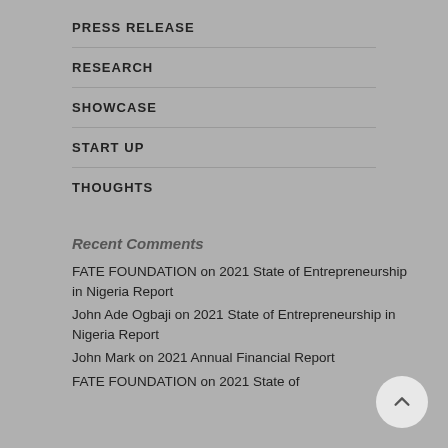PRESS RELEASE
RESEARCH
SHOWCASE
START UP
THOUGHTS
Recent Comments
FATE FOUNDATION on 2021 State of Entrepreneurship in Nigeria Report
John Ade Ogbaji on 2021 State of Entrepreneurship in Nigeria Report
John Mark on 2021 Annual Financial Report
FATE FOUNDATION on 2021 State of